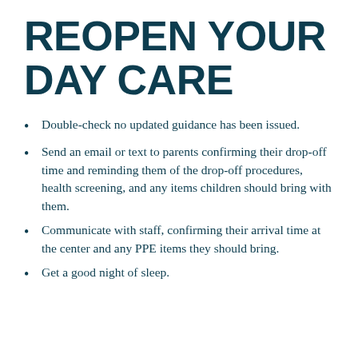REOPEN YOUR DAY CARE
Double-check no updated guidance has been issued.
Send an email or text to parents confirming their drop-off time and reminding them of the drop-off procedures, health screening, and any items children should bring with them.
Communicate with staff, confirming their arrival time at the center and any PPE items they should bring.
Get a good night of sleep.